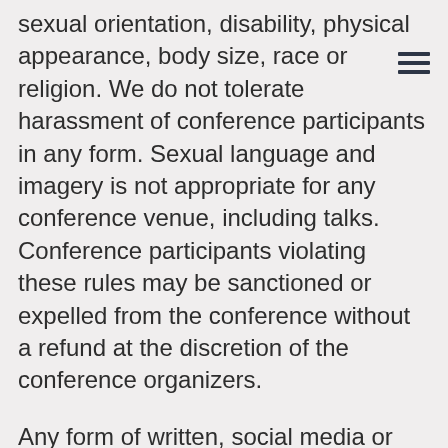sexual orientation, disability, physical appearance, body size, race or religion. We do not tolerate harassment of conference participants in any form. Sexual language and imagery is not appropriate for any conference venue, including talks. Conference participants violating these rules may be sanctioned or expelled from the conference without a refund at the discretion of the conference organizers.
Any form of written, social media or verbal communication that can be offensive or harassing to any attendee, speaker or staff is not allowed at GOTO. Please inform a GOTO staff member if